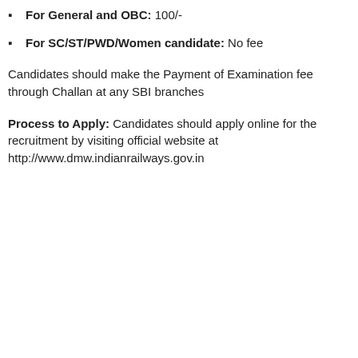For General and OBC: 100/-
For SC/ST/PWD/Women candidate: No fee
Candidates should make the Payment of Examination fee through Challan at any SBI branches
Process to Apply: Candidates should apply online for the recruitment by visiting official website at http://www.dmw.indianrailways.gov.in